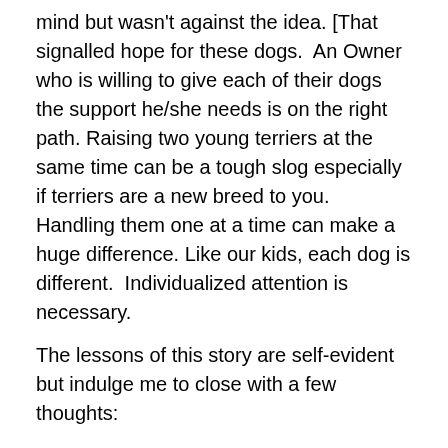mind but wasn't against the idea. [That signalled hope for these dogs. An Owner who is willing to give each of their dogs the support he/she needs is on the right path. Raising two young terriers at the same time can be a tough slog especially if terriers are a new breed to you. Handling them one at a time can make a huge difference. Like our kids, each dog is different. Individualized attention is necessary.
The lessons of this story are self-evident but indulge me to close with a few thoughts:
1. If you're at your wit's end with your dog, seek help. Actually, seek help at the beginning of your relationship with your dog to avoid being at your wit's end–or find yourself at the dog's end. Which is often the fate of dogs surrendered to shelters.